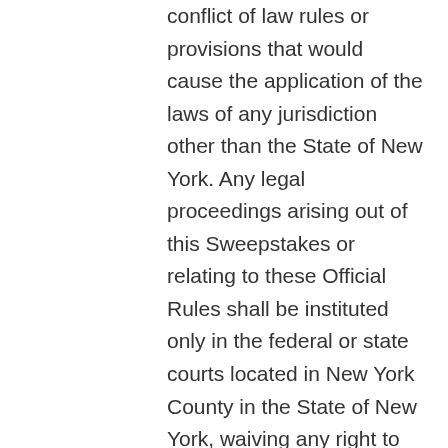conflict of law rules or provisions that would cause the application of the laws of any jurisdiction other than the State of New York. Any legal proceedings arising out of this Sweepstakes or relating to these Official Rules shall be instituted only in the federal or state courts located in New York County in the State of New York, waiving any right to trial by jury, and each entrant and Entrant Party consents to jurisdiction therein with respect to any legal proceedings or disputes of whatever nature arising under or relating to these rules or the Sweepstakes. In the event of any conflict between these Official Rules and any Sweepstakes information provided elsewhere (including but not limited to advertising, promotional materials, or other communications), these Official Rules will prevail.